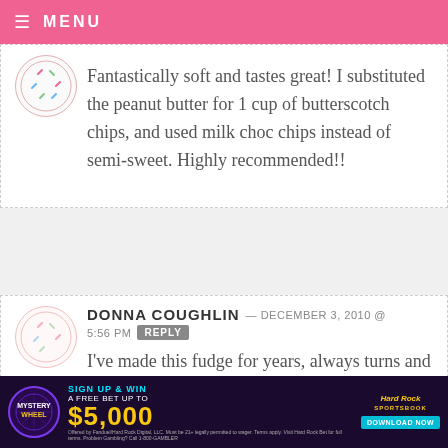MENU
Fantastically soft and tastes great! I substituted the peanut butter for 1 cup of butterscotch chips, and used milk choc chips instead of semi-sweet. Highly recommended!!
DONNA COUGHLIN — DECEMBER 3, 2010 @ 5:56 PM REPLY
I've made this fudge for years, always turns and perfect and delicous!
[Figure (screenshot): Hard Rock Sportsbook advertisement banner: Mystery Wheel, Sign Up & Win a Free Bet Up To $5,000, Download Now button]